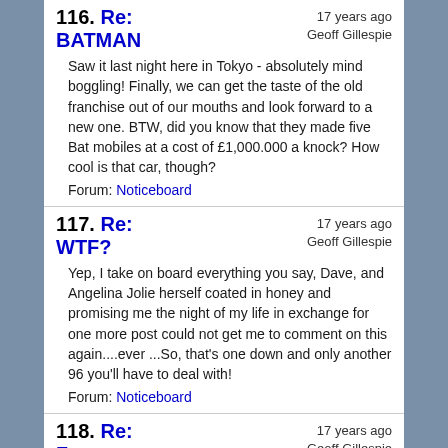116. Re: BATMAN — 17 years ago — Geoff Gillespie — Saw it last night here in Tokyo - absolutely mind boggling! Finally, we can get the taste of the old franchise out of our mouths and look forward to a new one. BTW, did you know that they made five Bat mobiles at a cost of £1,000.000 a knock? How cool is that car, though? Forum: Noticeboard
117. Re: WTF? — 17 years ago — Geoff Gillespie — Yep, I take on board everything you say, Dave, and Angelina Jolie herself coated in honey and promising me the night of my life in exchange for one more post could not get me to comment on this again....ever ...So, that's one down and only another 96 you'll have to deal with! Forum: Noticeboard
118. Re: Z AID - The — 17 years ago — Geoff Gillespie